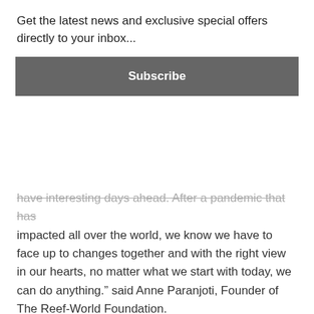Get the latest news and exclusive special offers directly to your inbox...
Subscribe
have interesting days ahead. After a pandemic that has impacted all over the world, we know we have to face up to changes together and with the right view in our hearts, no matter what we start with today, we can do anything.” said Anne Paranjoti, Founder of The Reef-World Foundation.
“As we move towards 2022 at a rate of knots, we are a stronger, more dynamic and fluid team ready to take on new challenges. The biggest changes to Green Fins since its inception are about to take place and I have every confidence in our team’s ability to ensure that these changes benefit our stakeholders and prioritise